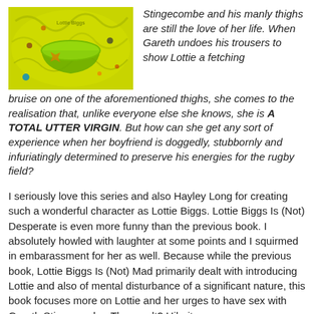[Figure (illustration): Colorful illustrated book cover with yellow-green background, featuring a bowl and star motifs]
Stingecombe and his manly thighs are still the love of her life. When Gareth undoes his trousers to show Lottie a fetching bruise on one of the aforementioned thighs, she comes to the realisation that, unlike everyone else she knows, she is A TOTAL UTTER VIRGIN. But how can she get any sort of experience when her boyfriend is doggedly, stubbornly and infuriatingly determined to preserve his energies for the rugby field?
I seriously love this series and also Hayley Long for creating such a wonderful character as Lottie Biggs. Lottie Biggs Is (Not) Desperate is even more funny than the previous book. I absolutely howled with laughter at some points and I squirmed in embarassment for her as well. Because while the previous book, Lottie Biggs Is (Not) Mad primarily dealt with introducing Lottie and also of mental disturbance of a significant nature, this book focuses more on Lottie and her urges to have sex with Gareth Stingecombe. The result? Hilarity.